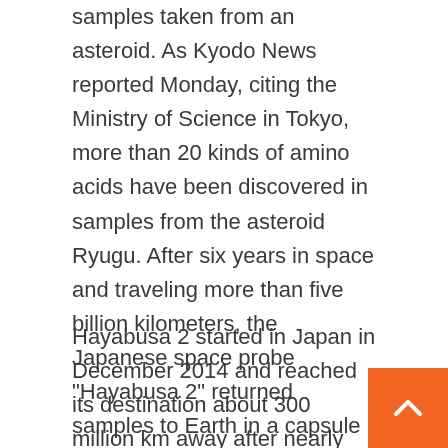samples taken from an asteroid. As Kyodo News reported Monday, citing the Ministry of Science in Tokyo, more than 20 kinds of amino acids have been discovered in samples from the asteroid Ryugu. After six years in space and traveling more than five billion kilometers, the Japanese space probe “Hayabusa 2” returned samples to Earth in a capsule in December 2020. The goal of the mission is to take a closer look at the origins of the solar system and life on Earth.
Hayabusa 2 started in Japan in December 2014 and reached its destination about 300 million km away after nearly four years. The probe later landed on Ryugu and collected surface samples, for the first time, from under a single surface. asteroids. Ryugu is a carbon asteroid and originates from the outer part the asteroid belt that orbits the sun between Mars and Jupiter. In 2019, the previous probe “Hayabusa”